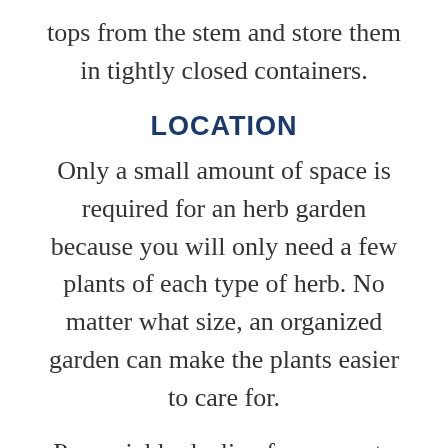tops from the stem and store them in tightly closed containers.
LOCATION
Only a small amount of space is required for an herb garden because you will only need a few plants of each type of herb. No matter what size, an organized garden can make the plants easier to care for.
Perennial herbs live from year to year, so group these plants together where they will not interfere with